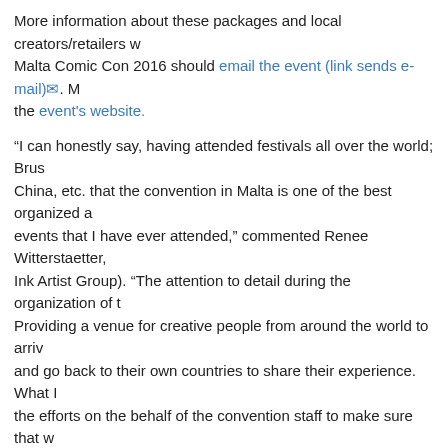More information about these packages and local creators/retailers who want to participate in Malta Comic Con 2016 should email the event (link sends e-mail). More information can be found on the event's website.
“I can honestly say, having attended festivals all over the world; Brussels, China, etc. that the convention in Malta is one of the best organized and run events that I have ever attended,” commented Renee Witterstaetter, (Natural Ink Artist Group). “The attention to detail during the organization of the show. Providing a venue for creative people from around the world to arrive, enjoy, and go back to their own countries to share their experience. What I most liked, the efforts on the behalf of the convention staff to make sure that we learned about the country of Malta and the rich history of this nation. In short, I truly enjoyed my time at the Malta Comic Con. It was educational to say the least! And the fun that it provided for us all, is unmatched.”
Source: Wicked Comics
[Figure (logo): AWN logo - letter A in blue on white background with rounded square border]
AWN Staff Editor
Tags: Comics  Wicked Comics  Awards  Malta  Malta Comic Con  Anita Mifsud  Avengers  Justice League  Art  panels  Marian